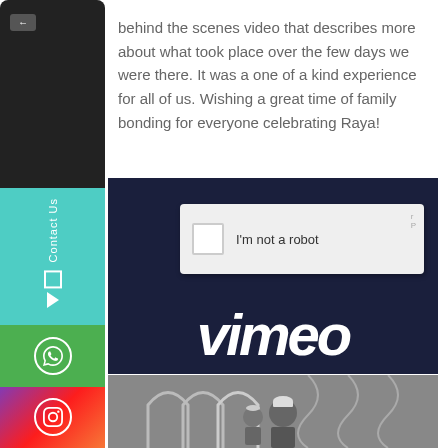behind the scenes video that describes more about what took place over the few days we were there. It was a one of a kind experience for all of us. Wishing a great time of family bonding for everyone celebrating Raya!
[Figure (screenshot): Screenshot of a Vimeo video player showing a CAPTCHA 'I'm not a robot' overlay on a dark navy background with the Vimeo logo in white italic text at the bottom.]
[Figure (photo): Black and white photograph of children, one wearing a white cap, framed by decorative iron arch railings.]